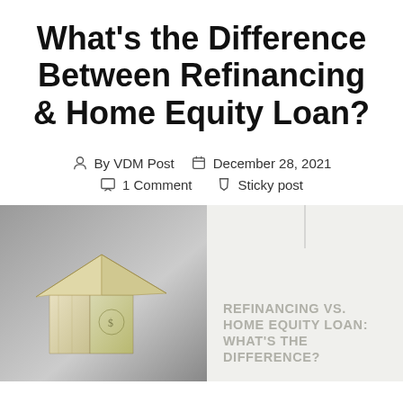What's the Difference Between Refinancing & Home Equity Loan?
By VDM Post   December 28, 2021
1 Comment   Sticky post
[Figure (photo): A house shape made from folded US dollar bills on a gray background, next to an infographic panel reading REFINANCING VS. HOME EQUITY LOAN: WHAT'S THE DIFFERENCE?]